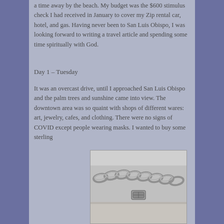a time away by the beach. My budget was the $600 stimulus check I had received in January to cover my Zip rental car, hotel, and gas. Having never been to San Luis Obispo, I was looking forward to writing a travel article and spending some time spiritually with God.
Day 1 – Tuesday
It was an overcast drive, until I approached San Luis Obispo and the palm trees and sunshine came into view. The downtown area was so quaint with shops of different wares: art, jewelry, cafes, and clothing. There were no signs of COVID except people wearing masks. I wanted to buy some sterling
[Figure (photo): A close-up photograph of a sterling silver chain bracelet with a clasp, placed on a light surface.]